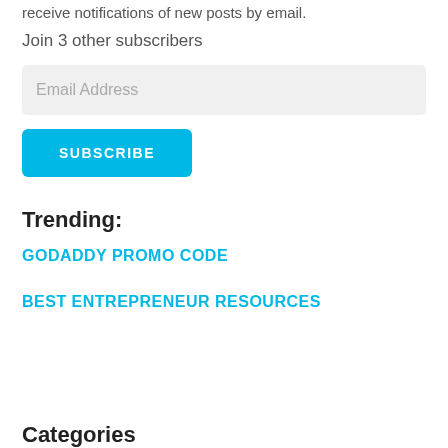receive notifications of new posts by email.
Join 3 other subscribers
Email Address
SUBSCRIBE
Trending:
GODADDY PROMO CODE
BEST ENTREPRENEUR RESOURCES
Categories